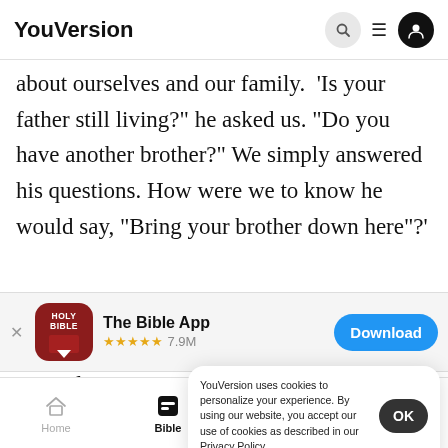YouVersion
about ourselves and our family. 'Is your father still living?' he asked us. 'Do you have another brother?' We simply answered his questions. How were we to know he would say, 'Bring your brother down here'?'
[Figure (screenshot): App store banner for The Bible App with Holy Bible icon, 5 stars, 7.9M rating, and Download button]
we and
9 I myse
YouVersion uses cookies to personalize your experience. By using our website, you accept our use of cookies as described in our Privacy Policy.
Home  Bible  Plans  Videos